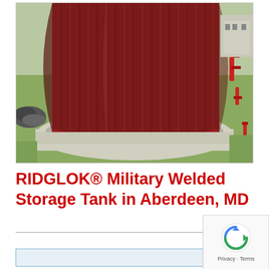[Figure (photo): Aerial/overhead photograph of a large dark red cylindrical RIDGLOK military welded storage tank sitting on a concrete pad. The tank shows vertical ribbed metal panels in a deep maroon/red color. Green grass is visible around the concrete base. Red pipe fittings visible on the right side. Rocks/gravel visible on the left.]
RIDGLOK® Military Welded Storage Tank in Aberdeen, MD